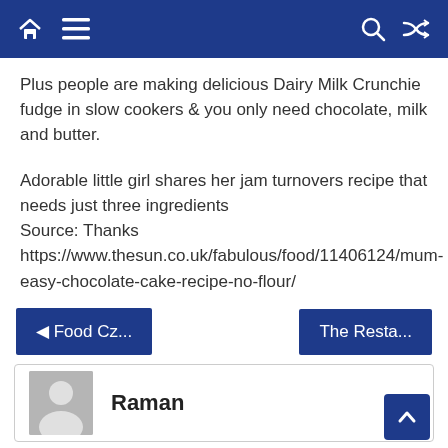Navigation bar with home, menu, search, and shuffle icons
Plus people are making delicious Dairy Milk Crunchie fudge in slow cookers & you only need chocolate, milk and butter.
Adorable little girl shares her jam turnovers recipe that needs just three ingredients
Source: Thanks
https://www.thesun.co.uk/fabulous/food/11406124/mum-easy-chocolate-cake-recipe-no-flour/
◄ Food Cz...
The Resta...
Raman